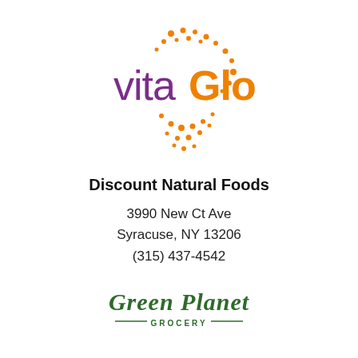[Figure (logo): vitaGlo logo: 'vita' in purple and 'Glo' in orange, surrounded by orange dots arranged in a starburst/sparkle pattern]
Discount Natural Foods
3990 New Ct Ave
Syracuse, NY 13206
(315) 437-4542
[Figure (logo): Green Planet Grocery logo in dark green script font with 'GROCERY' in small caps between two horizontal lines]